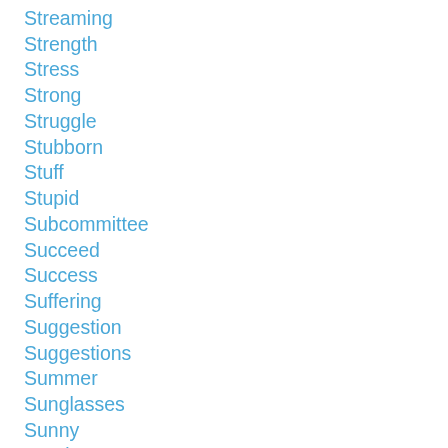Streaming
Strength
Stress
Strong
Struggle
Stubborn
Stuff
Stupid
Subcommittee
Succeed
Success
Suffering
Suggestion
Suggestions
Summer
Sunglasses
Sunny
Sunrise
Sunshine
Superhero
Superheroes